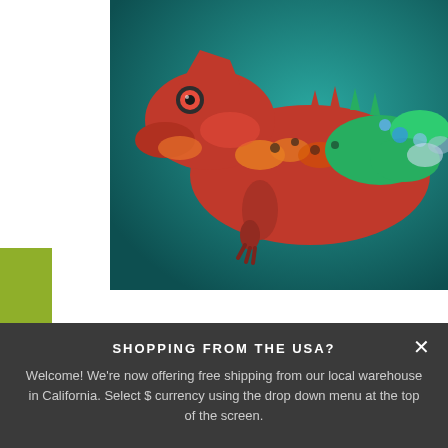[Figure (photo): Close-up photo of a colorful chameleon with vivid red, orange, green, blue, and black scales against a teal background]
Rewards programme
Before jumping headlong into a plan of action with a client, it is wise to first assess their readiness for change. According to Prochaska and
SHOPPING FROM THE USA?
Welcome! We're now offering free shipping from our local warehouse in California. Select $ currency using the drop down menu at the top of the screen.